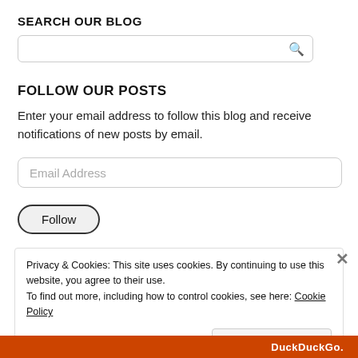SEARCH OUR BLOG
[Figure (other): Search input box with magnifier icon]
FOLLOW OUR POSTS
Enter your email address to follow this blog and receive notifications of new posts by email.
[Figure (other): Email Address input field]
[Figure (other): Follow button with rounded border]
Privacy & Cookies: This site uses cookies. By continuing to use this website, you agree to their use.
To find out more, including how to control cookies, see here: Cookie Policy
[Figure (other): Close and accept button in cookie banner]
DuckDuckGo.